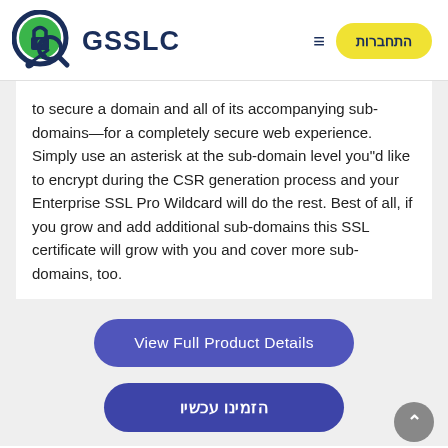[Figure (logo): GSSLC logo with a padlock and magnifying glass icon in blue and green, with keys, next to bold text 'GSSLC']
to secure a domain and all of its accompanying sub-domains—for a completely secure web experience. Simply use an asterisk at the sub-domain level you"d like to encrypt during the CSR generation process and your Enterprise SSL Pro Wildcard will do the rest. Best of all, if you grow and add additional sub-domains this SSL certificate will grow with you and cover more sub-domains, too.
View Full Product Details
הזמינו עכשיו